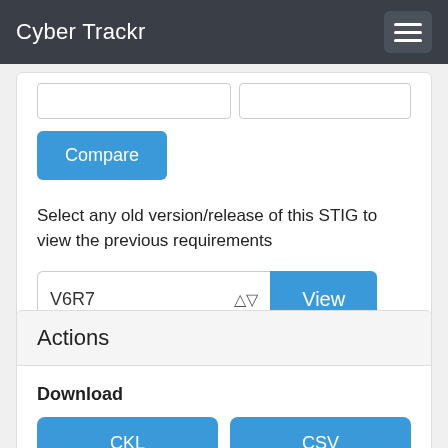Cyber Trackr
Select any old version/release of this STIG to view the previous requirements
V6R7  View
Actions
Download
CKL  CSV  JSON  XML